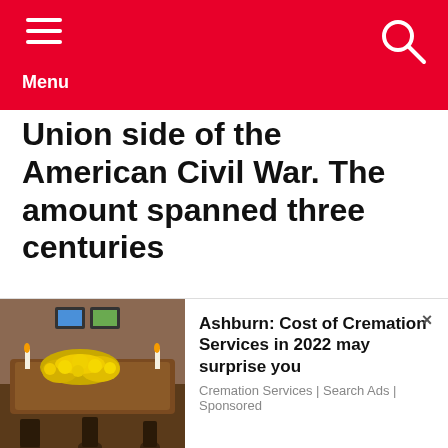Menu
Union side of the American Civil War. The amount spanned three centuries
[Figure (photo): Advertisement photo showing a funeral setting with a wooden casket decorated with yellow flowers, candles, and a brick wall background]
Ashburn: Cost of Cremation Services in 2022 may surprise you
Cremation Services | Search Ads | Sponsored